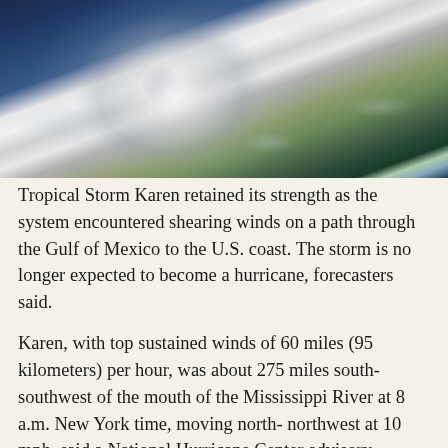[Figure (photo): Satellite image of Tropical Storm Karen viewed from space, showing a large spiral hurricane system over the Gulf of Mexico with the Florida coastline visible on the right side. The storm shows a well-defined eye and spiral cloud bands against dark ocean waters.]
Tropical Storm Karen retained its strength as the system encountered shearing winds on a path through the Gulf of Mexico to the U.S. coast. The storm is no longer expected to become a hurricane, forecasters said.
Karen, with top sustained winds of 60 miles (95 kilometers) per hour, was about 275 miles south-southwest of the mouth of the Mississippi River at 8 a.m. New York time, moving north- northwest at 10 mph, said a National Hurricane Center advisory.